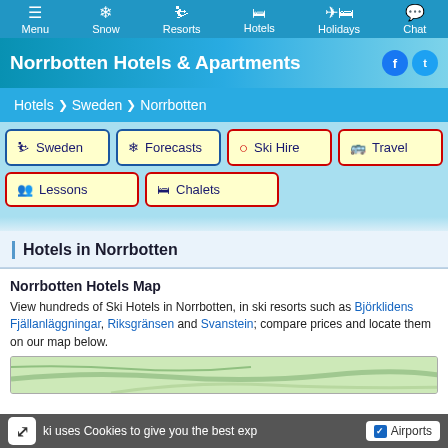Menu | Snow | Resorts | Hotels | Holidays | Chat
Norrbotten Hotels & Apartments
Hotels > Sweden > Norrbotten
Sweden
Forecasts
Ski Hire
Travel
Lessons
Chalets
Hotels in Norrbotten
Norrbotten Hotels Map
View hundreds of Ski Hotels in Norrbotten, in ski resorts such as Björklidens Fjällanläggningar, Riksgränsen and Svanstein; compare prices and locate them on our map below.
[Figure (map): Partial map preview of Norrbotten region]
Ski uses Cookies to give you the best exp
Airports